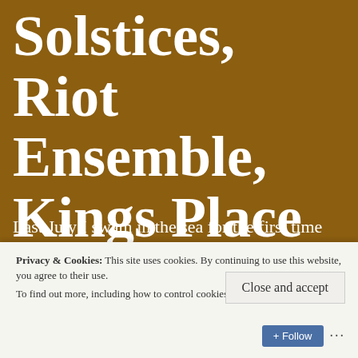Solstices, Riot Ensemble, Kings Place
Last July I swam in the sea for the first time after five months of Covid-19 shielding and it felt like a benediction. The ending of Georg Friedrich Haas's Solstices last night – as the lights rose on the Riot Ensemble sounding an immense, reverberating,
Privacy & Cookies: This site uses cookies. By continuing to use this website, you agree to their use.
To find out more, including how to control cookies, see here: Cookie Policy
Close and accept
Follow